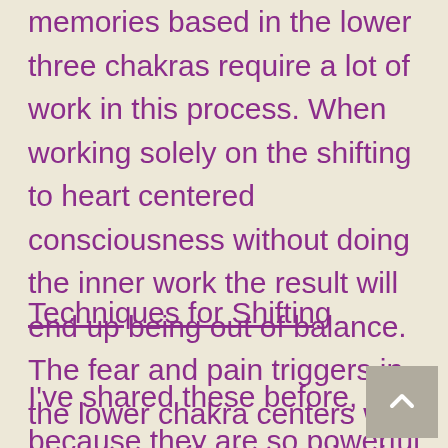memories based in the lower three chakras require a lot of work in this process. When working solely on the shifting to heart centered consciousness without doing the inner work the result will end up being out of balance. The fear and pain triggers in the lower chakra centers will always manifest, resulting in dissonance and possibly even great anguish and pain.
Techniques for Shifting
I've shared these before, but because they are so powerful and critical to the